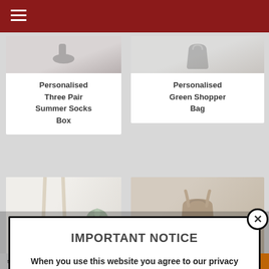Personalised Three Pair Summer Socks Box
Personalised Green Shopper Bag
[Figure (photo): Product photo placeholder for tote bag with succulent]
[Figure (photo): Product photo placeholder for brown leather bag on wood surface]
IMPORTANT NOTICE
When you use this website you agree to our privacy policy.
SHARES